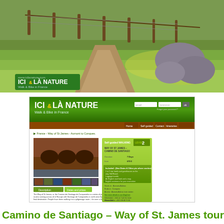[Figure (photo): Outdoor landscape photo showing a grassy countryside path with fence posts and rocky terrain, with an ICI & LÀ NATURE Walk & Bike in France logo overlay in the bottom left]
[Figure (screenshot): Screenshot of the ICI & LÀ NATURE website showing a tour page for 'France - Way of St James - Aumont to Conques' with a photo of a bridge, thumbnails, tour details panel showing Level 2 self-guided walking, 7 days duration, price 670€, and a description of the Way of St James pilgrimage route]
Camino de Santiago – Way of St. James tours with Ici